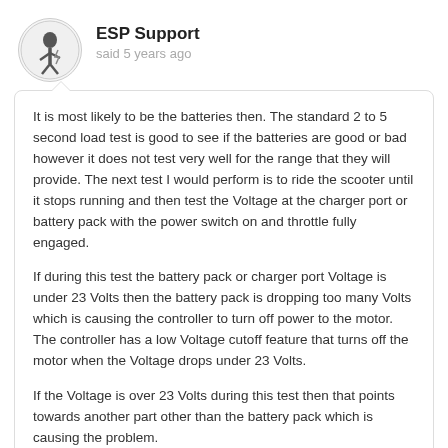[Figure (logo): ESP Support avatar logo — circular badge with a cartoon figure holding a lightning bolt]
ESP Support
said 5 years ago
It is most likely to be the batteries then. The standard 2 to 5 second load test is good to see if the batteries are good or bad however it does not test very well for the range that they will provide. The next test I would perform is to ride the scooter until it stops running and then test the Voltage at the charger port or battery pack with the power switch on and throttle fully engaged.
If during this test the battery pack or charger port Voltage is under 23 Volts then the battery pack is dropping too many Volts which is causing the controller to turn off power to the motor. The controller has a low Voltage cutoff feature that turns off the motor when the Voltage drops under 23 Volts.
If the Voltage is over 23 Volts during this test then that points towards another part other than the battery pack which is causing the problem.
Please let us know how it goes.